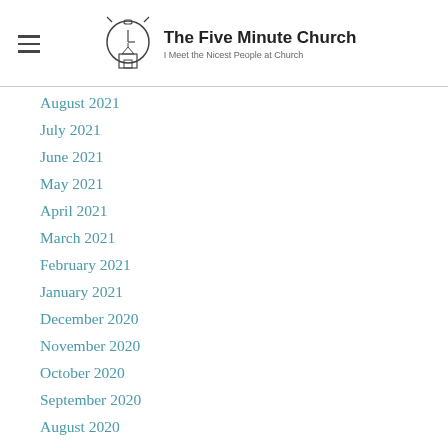The Five Minute Church — I Meet the Nicest People at Church
August 2021
July 2021
June 2021
May 2021
April 2021
March 2021
February 2021
January 2021
December 2020
November 2020
October 2020
September 2020
August 2020
July 2020
June 2020
May 2020
April 2020
March 2020